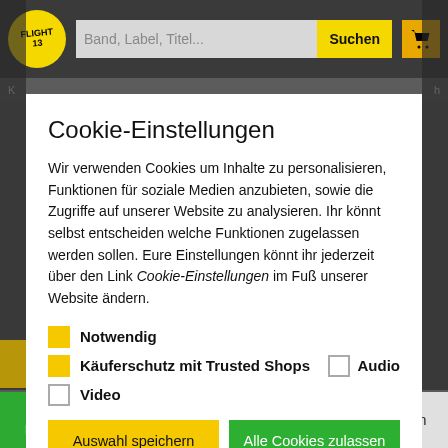[Figure (screenshot): Website header with logo, search bar with placeholder 'Band, Label, Titel...', yellow 'Suchen' button, and shopping cart icon]
Cookie-Einstellungen
Wir verwenden Cookies um Inhalte zu personalisieren, Funktionen für soziale Medien anzubieten, sowie die Zugriffe auf unserer Website zu analysieren. Ihr könnt selbst entscheiden welche Funktionen zugelassen werden sollen. Eure Einstellungen könnt ihr jederzeit über den Link Cookie-Einstellungen im Fuß unserer Website ändern.
Notwendig
Käuferschutz mit Trusted Shops
Audio
Video
Auswahl speichern
Alle Cookies zulassen
Details
[Figure (screenshot): Footer bar with Nachnahme, checkmark logo, SEPA Lastschrift, Instagram icon and text]